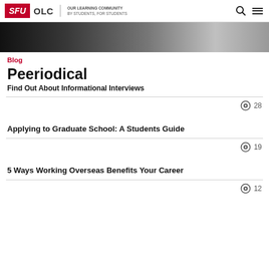SFU OLC | OUR LEARNING COMMUNITY BY STUDENTS, FOR STUDENTS
[Figure (photo): Black and white photo banner showing a person]
Blog
Peeriodical
Find Out About Informational Interviews
28 views
Applying to Graduate School: A Students Guide
19 views
5 Ways Working Overseas Benefits Your Career
12 views (partial)